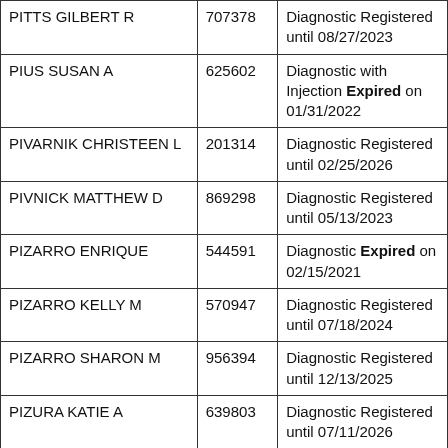| PITTS GILBERT R | 707378 | Diagnostic Registered until 08/27/2023 |
| PIUS SUSAN A | 625602 | Diagnostic with Injection Expired on 01/31/2022 |
| PIVARNIK CHRISTEEN L | 201314 | Diagnostic Registered until 02/25/2026 |
| PIVNICK MATTHEW D | 869298 | Diagnostic Registered until 05/13/2023 |
| PIZARRO ENRIQUE | 544591 | Diagnostic Expired on 02/15/2021 |
| PIZARRO KELLY M | 570947 | Diagnostic Registered until 07/18/2024 |
| PIZARRO SHARON M | 956394 | Diagnostic Registered until 12/13/2025 |
| PIZURA KATIE A | 639803 | Diagnostic Registered until 07/11/2026 |
| PIZZARELLI LORI J | 125947 | Diagnostic with Injection Registered |